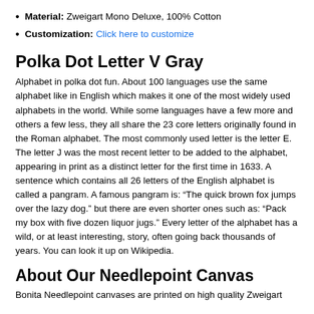Material: Zweigart Mono Deluxe, 100% Cotton
Customization: Click here to customize
Polka Dot Letter V Gray
Alphabet in polka dot fun. About 100 languages use the same alphabet like in English which makes it one of the most widely used alphabets in the world. While some languages have a few more and others a few less, they all share the 23 core letters originally found in the Roman alphabet. The most commonly used letter is the letter E. The letter J was the most recent letter to be added to the alphabet, appearing in print as a distinct letter for the first time in 1633. A sentence which contains all 26 letters of the English alphabet is called a pangram. A famous pangram is: “The quick brown fox jumps over the lazy dog.” but there are even shorter ones such as: “Pack my box with five dozen liquor jugs.” Every letter of the alphabet has a wild, or at least interesting, story, often going back thousands of years. You can look it up on Wikipedia.
About Our Needlepoint Canvas
Bonita Needlepoint canvases are printed on high quality Zweigart